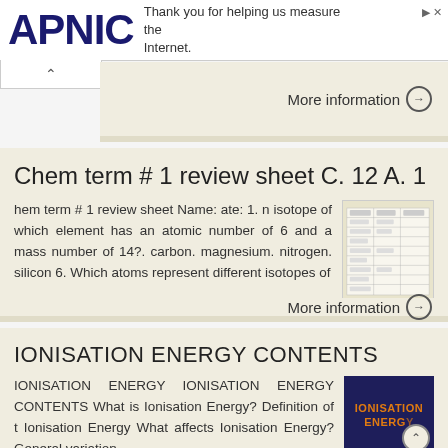APNIC — Thank you for helping us measure the Internet.
More information →
Chem term # 1 review sheet C. 12 A. 1
hem term # 1 review sheet Name: ate: 1. n isotope of which element has an atomic number of 6 and a mass number of 14?. carbon. magnesium. nitrogen. silicon 6. Which atoms represent different isotopes of
[Figure (table-as-image): Thumbnail of a chemistry review sheet table]
More information →
IONISATION ENERGY CONTENTS
IONISATION ENERGY IONISATION ENERGY CONTENTS What is Ionisation Energy? Definition of t Ionisation Energy What affects Ionisation Energy? General variation
[Figure (illustration): Ionisation Energy thumbnail with dark blue background and orange text]